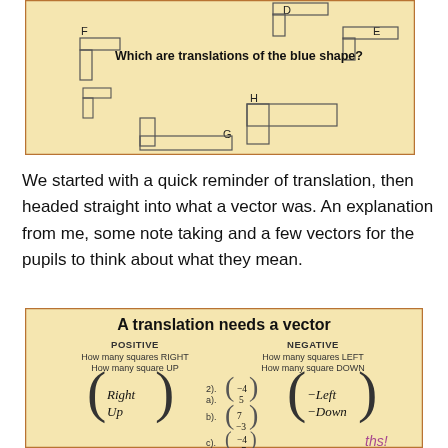[Figure (illustration): Tan/gold bordered box showing various labeled L-shaped/step-shaped figures (F, G, H, D, E) with text 'Which are translations of the blue shape?']
We started with a quick reminder of translation, then headed straight into what a vector was. An explanation from me, some note taking and a few vectors for the pupils to think about what they mean.
[Figure (infographic): Box titled 'A translation needs a vector' with POSITIVE/NEGATIVE columns explaining direction labels (Right=squares RIGHT, Up=squares UP, Left=squares LEFT, Down=squares DOWN) and sample vectors: a) (-4,5), b) (7,-3), c) (-4,-7)]